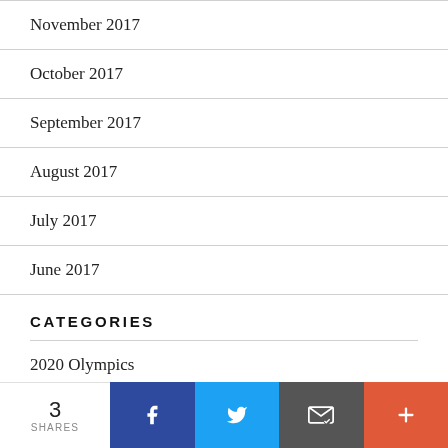November 2017
October 2017
September 2017
August 2017
July 2017
June 2017
CATEGORIES
2020 Olympics
Aaron Perez
3 SHARES  [Facebook] [Twitter] [Email] [More]